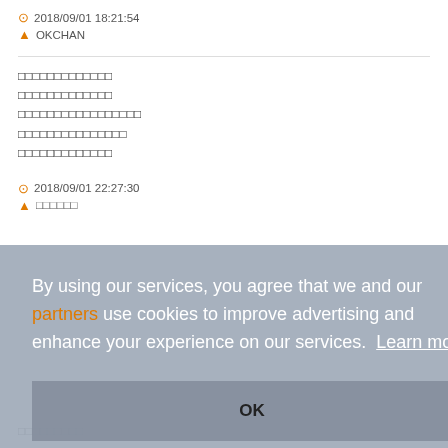2018/09/01 18:21:54
OKCHAN
□□□□□□□□□□□□□
□□□□□□□□□□□□□
□□□□□□□□□□□□□□□□□
□□□□□□□□□□□□□□□
□□□□□□□□□□□□□
2018/09/01 22:27:30
□□□□□□
By using our services, you agree that we and our partners use cookies to improve advertising and enhance your experience on our services. Learn more
OK
□□□□□□□□□